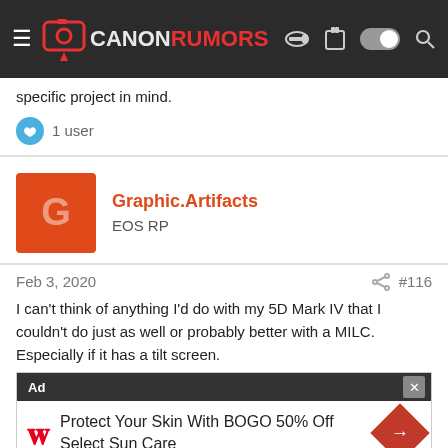CANONRUMORS
specific project in mind.
1 user
Graphic.Artifacts
EOS RP
Feb 3, 2020  #116
I can't think of anything I'd do with my 5D Mark IV that I couldn't do just as well or probably better with a MILC. Especially if it has a tilt screen.
[Figure (screenshot): Walgreens advertisement overlay: 'Protect Your Skin With BOGO 50% Off Select Sun Care']
On the o... for the kind of w... EVE just does... sports. If that was... on and just a couple beats in... can make all of the